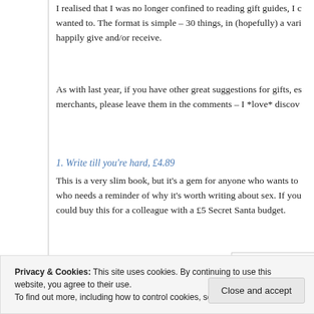I realised that I was no longer confined to reading gift guides, I c wanted to. The format is simple – 30 things, in (hopefully) a vari happily give and/or receive.
As with last year, if you have other great suggestions for gifts, es merchants, please leave them in the comments – I *love* discov
1. Write till you're hard, £4.89
This is a very slim book, but it's a gem for anyone who wants to who needs a reminder of why it's worth writing about sex. If you could buy this for a colleague with a £5 Secret Santa budget.
[Figure (photo): Book cover image showing 'WRITE' in bold red letters with 'GUY NEW YORK' text below]
Privacy & Cookies: This site uses cookies. By continuing to use this website, you agree to their use.
To find out more, including how to control cookies, see here: Cookie Policy
Close and accept